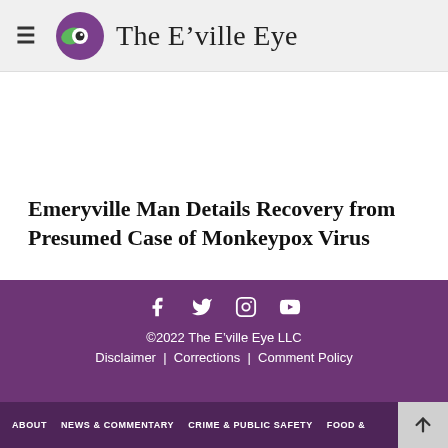The E'ville Eye
Emeryville Man Details Recovery from Presumed Case of Monkeypox Virus
©2022 The E'ville Eye LLC | Disclaimer | Corrections | Comment Policy | ABOUT | NEWS & COMMENTARY | CRIME & PUBLIC SAFETY | FOOD &